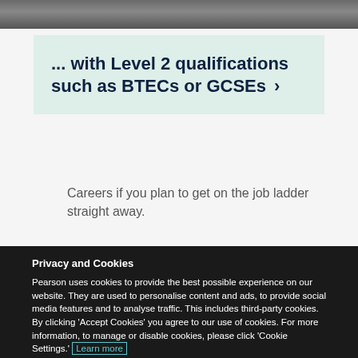[Figure (photo): Partial view of students or people in an educational setting, top of page]
... with Level 2 qualifications such as BTECs or GCSEs ›
Careers if you plan to get on the job ladder straight away.
[Figure (photo): Partial view of people, bottom section of page]
Privacy and Cookies
Pearson uses cookies to provide the best possible experience on our website. They are used to personalise content and ads, to provide social media features and to analyse traffic. This includes third-party cookies. By clicking 'Accept Cookies' you agree to our use of cookies. For more information, to manage or disable cookies, please click 'Cookie Settings.' Learn more